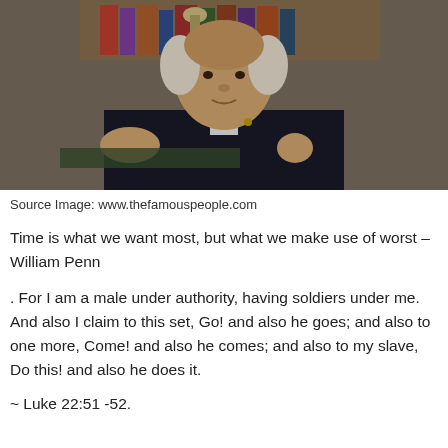[Figure (photo): Portrait painting of a man in dark formal attire seated at a desk with books in the background, likely William Penn or a historical figure]
Source Image: www.thefamouspeople.com
Time is what we want most, but what we make use of worst – William Penn
. For I am a male under authority, having soldiers under me. And also I claim to this set, Go! and also he goes; and also to one more, Come! and also he comes; and also to my slave, Do this! and also he does it.
~ Luke 22:51 -52.